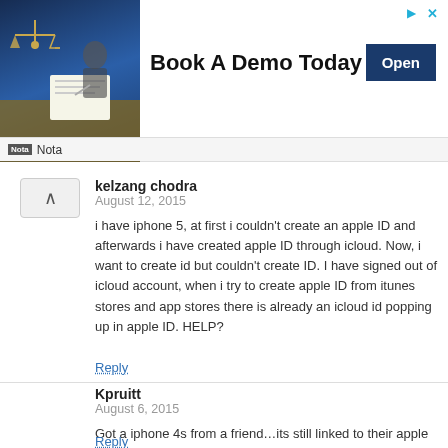[Figure (photo): Advertisement banner with a photo of legal scales and a person signing documents. Text reads 'Book A Demo Today' with an 'Open' button. Nota logo at bottom.]
kelzang chodra
August 12, 2015

i have iphone 5, at first i couldn't create an apple ID and afterwards i have created apple ID through icloud. Now, i want to create id but couldn't create ID. I have signed out of icloud account, when i try to create apple ID from itunes stores and app stores there is already an icloud id popping up in apple ID. HELP?
Reply
Kpruitt
August 6, 2015

Got a iphone 4s from a friend…its still linked to their apple id…they passed away before I could get their info to unlock the link…HELP
Reply